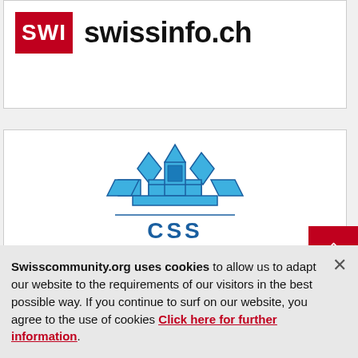[Figure (logo): SWI swissinfo.ch logo — red rectangle with white text 'SWI' next to bold black text 'swissinfo.ch']
[Figure (logo): CSS insurance logo — blue crystal/snowflake emblem above partial text 'CSS' in blue]
Swisscommunity.org uses cookies to allow us to adapt our website to the requirements of our visitors in the best possible way. If you continue to surf on our website, you agree to the use of cookies Click here for further information.